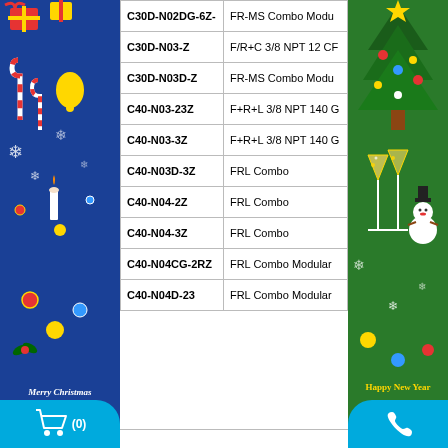[Figure (illustration): Blue Christmas themed banner with holiday decorations, gift boxes, candy canes, bells, snowflakes, and 'Merry Christmas' text]
[Figure (illustration): Green New Year themed banner with Christmas tree, champagne glasses, snowman, and 'Happy New Year' text]
| Model | Description |
| --- | --- |
| C30D-N02DG-6Z- | FR-MS Combo Modu |
| C30D-N03-Z | F/R+C 3/8 NPT 12 CF |
| C30D-N03D-Z | FR-MS Combo Modu |
| C40-N03-23Z | F+R+L 3/8 NPT 140 G |
| C40-N03-3Z | F+R+L 3/8 NPT 140 G |
| C40-N03D-3Z | FRL Combo |
| C40-N04-2Z | FRL Combo |
| C40-N04-3Z | FRL Combo |
| C40-N04CG-2RZ | FRL Combo Modular |
| C40-N04D-23 | FRL Combo Modular |
TECHNICAL SUPPORT
SALE SUPPORT
MR. NHÂN
0935 041313
sales@greentechvn.com
[Figure (logo): GRT Greentech logo on left side]
[Figure (logo): GRT Greentech logo on right side]
[Figure (illustration): Shopping cart button with (0) count]
[Figure (illustration): Phone/call button]